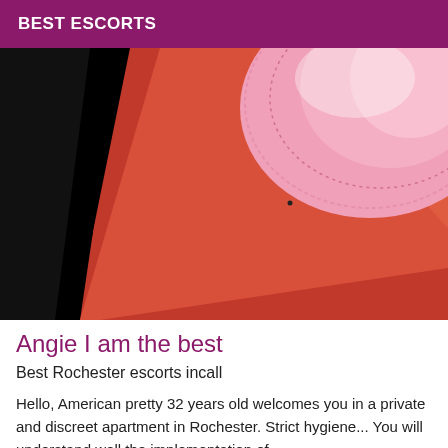BEST ESCORTS
[Figure (photo): Close-up photo of a person wearing a pink lace bra against a red/orange background with black background on the left side]
Angie I am the best
Best Rochester escorts incall
Hello, American pretty 32 years old welcomes you in a private and discreet apartment in Rochester. Strict hygiene... You will understand well the implementation of